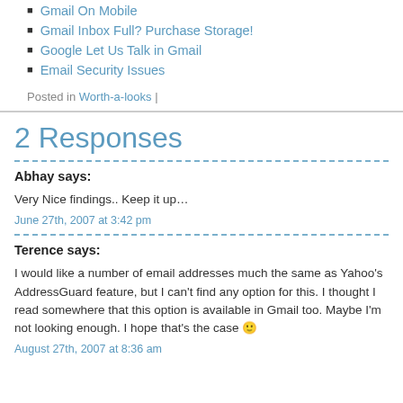Gmail On Mobile
Gmail Inbox Full? Purchase Storage!
Google Let Us Talk in Gmail
Email Security Issues
Posted in Worth-a-looks |
2 Responses
Abhay says:
Very Nice findings.. Keep it up…
June 27th, 2007 at 3:42 pm
Terence says:
I would like a number of email addresses much the same as Yahoo's AddressGuard feature, but I can't find any option for this. I thought I read somewhere that this option is available in Gmail too. Maybe I'm not looking enough. I hope that's the case 🙂
August 27th, 2007 at 8:36 am